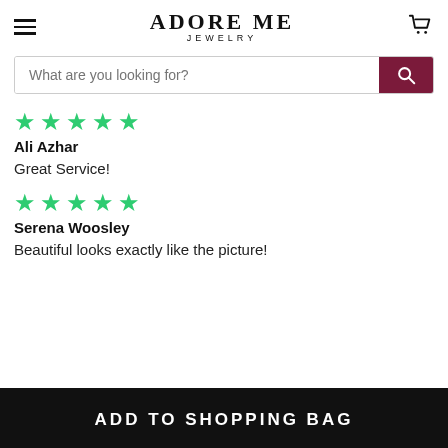ADORE ME JEWELRY
What are you looking for?
★★★★★
Ali Azhar
Great Service!
★★★★★
Serena Woosley
Beautiful looks exactly like the picture!
ADD TO SHOPPING BAG